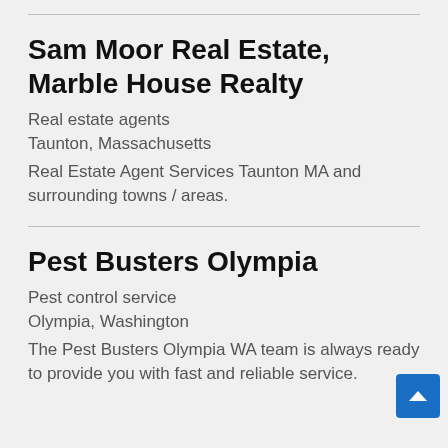Sam Moor Real Estate, Marble House Realty
Real estate agents
Taunton, Massachusetts
Real Estate Agent Services Taunton MA and surrounding towns / areas.
Pest Busters Olympia
Pest control service
Olympia, Washington
The Pest Busters Olympia WA team is always ready to provide you with fast and reliable service.